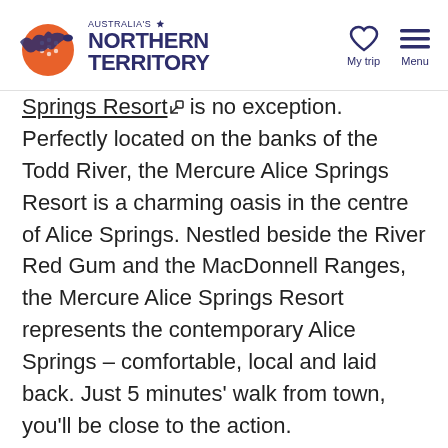Australia's Northern Territory — My trip | Menu
Springs Resort is no exception. Perfectly located on the banks of the Todd River, the Mercure Alice Springs Resort is a charming oasis in the centre of Alice Springs. Nestled beside the River Red Gum and the MacDonnell Ranges, the Mercure Alice Springs Resort represents the contemporary Alice Springs – comfortable, local and laid back. Just 5 minutes' walk from town, you'll be close to the action.
Sit back and relax at Crowne Plaza Alice Springs Lasseters, which boasts premium rooms and outstanding amenities. Situated conveniently adjacent to amazing restaurants and the casino, you'll love the views of the MacDonnell Ranges, heated spa,